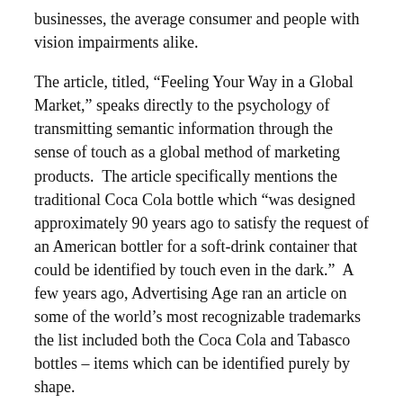businesses, the average consumer and people with vision impairments alike.
The article, titled, “Feeling Your Way in a Global Market,” speaks directly to the psychology of transmitting semantic information through the sense of touch as a global method of marketing products.  The article specifically mentions the traditional Coca Cola bottle which “was designed approximately 90 years ago to satisfy the request of an American bottler for a soft-drink container that could be identified by touch even in the dark.”  A few years ago, Advertising Age ran an article on some of the world’s most recognizable trademarks the list included both the Coca Cola and Tabasco bottles – items which can be identified purely by shape.
While reading the article from Business Week, I